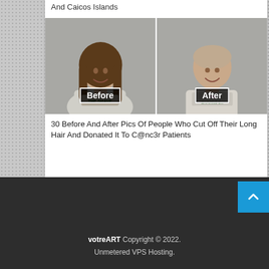And Caicos Islands
[Figure (photo): Before and after side-by-side photos of a person with long hair (left, labeled 'Before') and the same person with shaved head (right, labeled 'After'), both wearing gray t-shirts against a gray background.]
30 Before And After Pics Of People Who Cut Off Their Long Hair And Donated It To C@nc3r Patients
votreART Copyright © 2022. Unmetered VPS Hosting.